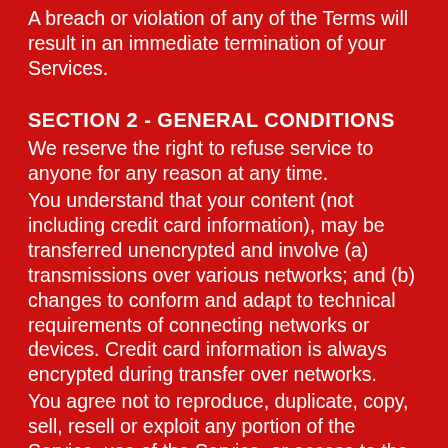A breach or violation of any of the Terms will result in an immediate termination of your Services.
SECTION 2 - GENERAL CONDITIONS
We reserve the right to refuse service to anyone for any reason at any time.
You understand that your content (not including credit card information), may be transferred unencrypted and involve (a) transmissions over various networks; and (b) changes to conform and adapt to technical requirements of connecting networks or devices. Credit card information is always encrypted during transfer over networks.
You agree not to reproduce, duplicate, copy, sell, resell or exploit any portion of the Service, use of the Service, or access to the Service or any contact on the website through which the service is provided, without express written permission by us